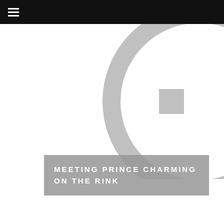≡
[Figure (logo): Partial circular logo with a stylized G letter in light gray, partially visible in the upper right area of the page]
MEETING PRINCE CHARMING ON THE RINK